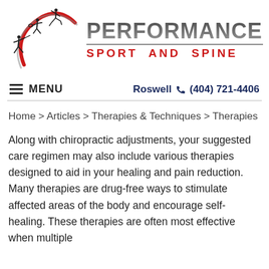[Figure (logo): Performance Sport and Spine logo with silhouettes of athletes (runner, tennis player, baseball batter) and a red swoosh arc, alongside bold text 'PERFORMANCE' in dark gray gradient and 'SPORT AND SPINE' in red capitals]
≡  MENU                    Roswell  📞 (404) 721-4406
Home > Articles > Therapies & Techniques > Therapies
Along with chiropractic adjustments, your suggested care regimen may also include various therapies designed to aid in your healing and pain reduction. Many therapies are drug-free ways to stimulate affected areas of the body and encourage self-healing. These therapies are often most effective when multiple